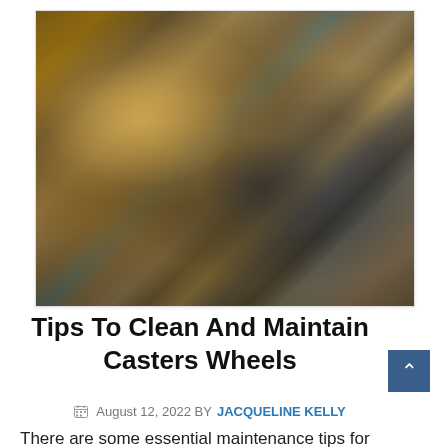[Figure (photo): Close-up photograph of a pile of metallic caster wheels and hardware pieces, bronze/copper and dark metal tones, scattered on a surface with teal/blue accents visible in background.]
Tips To Clean And Maintain Casters Wheels
August 12, 2022 BY JACQUELINE KELLY
There are some essential maintenance tips for